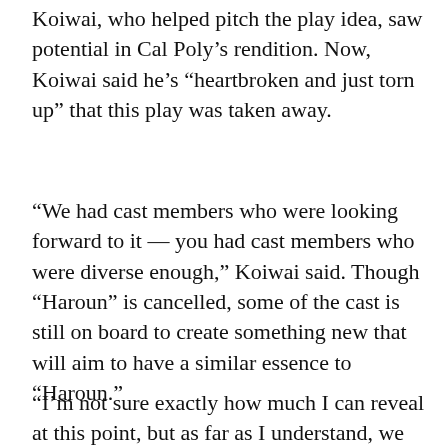Koiwai, who helped pitch the play idea, saw potential in Cal Poly’s rendition. Now, Koiwai said he’s “heartbroken and just torn up” that this play was taken away.
“We had cast members who were looking forward to it — you had cast members who were diverse enough,” Koiwai said. Though “Haroun” is cancelled, some of the cast is still on board to create something new that will aim to have a similar essence to “Haroun.”
“I’m not sure exactly how much I can reveal at this point, but as far as I understand, we are taking elements of